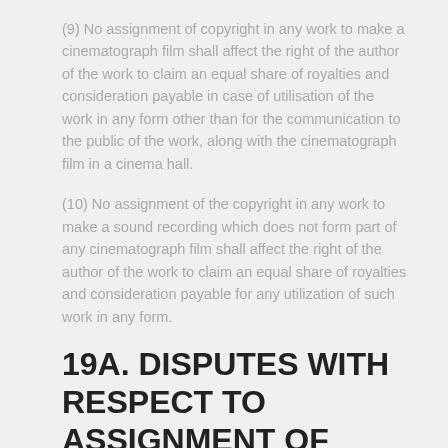(9) No assignment of copyright in any work to make a cinematograph film shall affect the right of the author of the work to claim an equal share of royalties and consideration payable in case of utilisation of the work in any form other than for the communication to the public of the work, along with the cinematograph film in a cinema hall.
(10) No assignment of the copyright in any work to make a sound recording which does not form part of any cinematograph film shall affect the right of the author of the work to claim an equal share of royalties and consideration payable for any utilization of such work in any form.
19A. DISPUTES WITH RESPECT TO ASSIGNMENT OF COPYRIGHT.